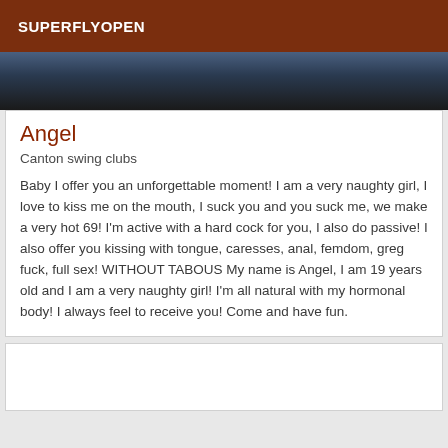SUPERFLYOPEN
[Figure (photo): Partial photo showing a blue surface and dark background]
Angel
Canton swing clubs
Baby I offer you an unforgettable moment! I am a very naughty girl, I love to kiss me on the mouth, I suck you and you suck me, we make a very hot 69! I'm active with a hard cock for you, I also do passive! I also offer you kissing with tongue, caresses, anal, femdom, greg fuck, full sex! WITHOUT TABOUS My name is Angel, I am 19 years old and I am a very naughty girl! I'm all natural with my hormonal body! I always feel to receive you! Come and have fun.